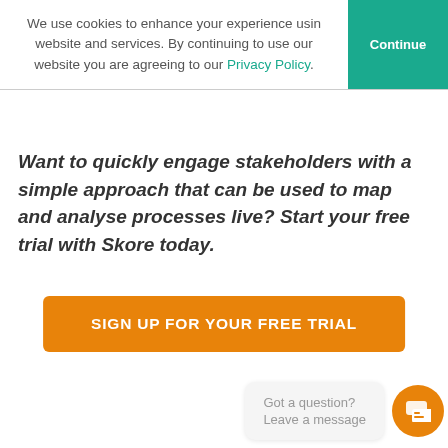We use cookies to enhance your experience using website and services. By continuing to use our website you are agreeing to our Privacy Policy.
Want to quickly engage stakeholders with a simple approach that can be used to map and analyse processes live? Start your free trial with Skore today.
SIGN UP FOR YOUR FREE TRIAL
Got a question? Leave a message